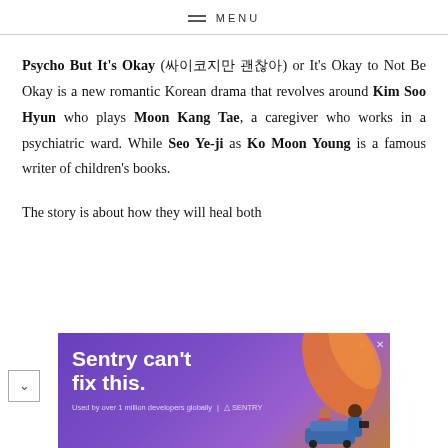MENU
Psycho But It's Okay (싸이코지만 괜찮아) or It's Okay to Not Be Okay is a new romantic Korean drama that revolves around Kim Soo Hyun who plays Moon Kang Tae, a caregiver who works in a psychiatric ward. While Seo Ye-ji as Ko Moon Young is a famous writer of children's books.
The story is about how they will heal both
[Figure (infographic): Advertisement banner for Sentry with text 'Sentry can't fix this.' on a purple/orange gradient background with illustrated figures.]